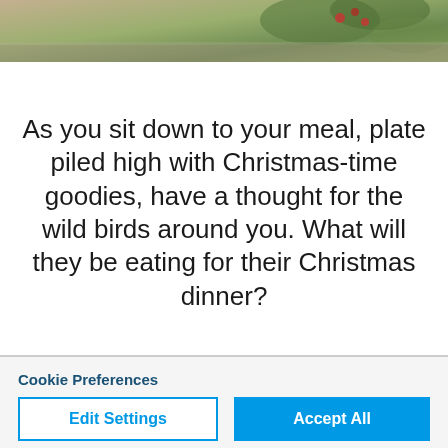[Figure (photo): Partial photo strip at top showing Christmas foliage/greenery with berries, muted natural tones]
As you sit down to your meal, plate piled high with Christmas-time goodies, have a thought for the wild birds around you. What will they be eating for their Christmas dinner?
Cookie Preferences
Accepting all non-essential cookies helps us to personalise your experience
Edit Settings
Accept All